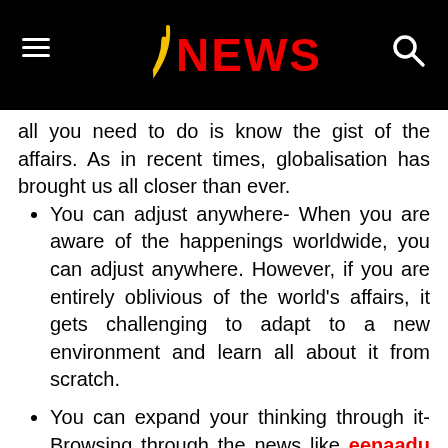NEWS
all you need to do is know the gist of the affairs. As in recent times, globalisation has brought us all closer than ever.
You can adjust anywhere- When you are aware of the happenings worldwide, you can adjust anywhere. However, if you are entirely oblivious of the world's affairs, it gets challenging to adapt to a new environment and learn all about it from scratch.
You can expand your thinking through it- Browsing through the news like eenaadu opens up your mind. It introduces you to new stories, cultures, people, and ethnicity. News also introduces you to new ideas that can inspire you.
It educates you- If you want to excel in a particular industry, you must keep track of all the current affairs in the field. For example, if you're going to invest in stocks, you have to keep watching all the stock market trends to